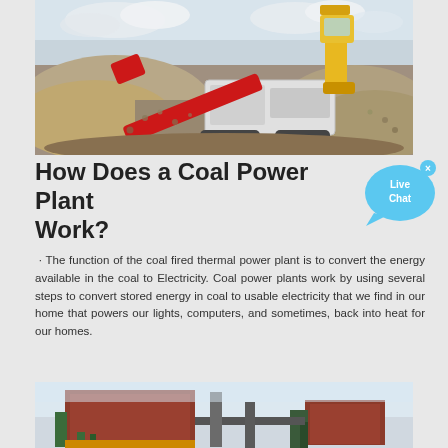[Figure (photo): A red crushing/mining machine processing gravel and rocks at a mining or quarrying site, with a yellow crane/excavator visible in the background against a cloudy sky]
How Does a Coal Power Plant Work?
[Figure (other): Live Chat speech bubble button in blue with white text reading 'Live Chat' and an x close button]
· The function of the coal fired thermal power plant is to convert the energy available in the coal to Electricity. Coal power plants work by using several steps to convert stored energy in coal to usable electricity that we find in our home that powers our lights, computers, and sometimes, back into heat for our homes.
[Figure (photo): Industrial coal power plant equipment showing large red/brown metal structures and machinery against a bright sky]